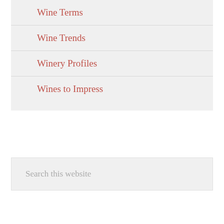Wine Terms
Wine Trends
Winery Profiles
Wines to Impress
Search this website